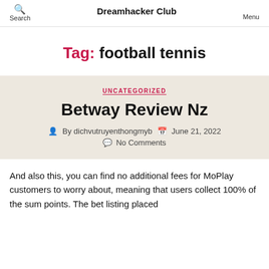Search  Dreamhacker Club  Menu
Tag: football tennis
UNCATEGORIZED
Betway Review Nz
By dichvutruyenthongmyb  June 21, 2022  No Comments
And also this, you can find no additional fees for MoPlay customers to worry about, meaning that users collect 100% of the sum points. The betting placed